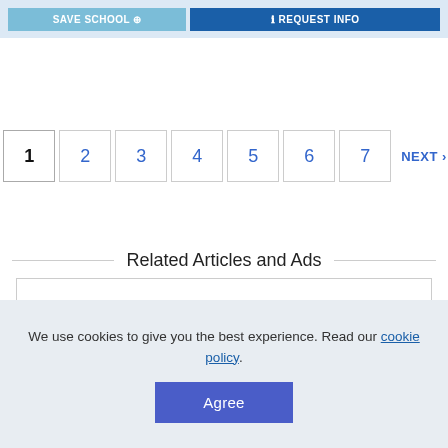[Figure (screenshot): Top bar with SAVE SCHOOL and REQUEST INFO buttons on light blue background]
1 2 3 4 5 6 7 NEXT ›
Related Articles and Ads
[Figure (other): Empty ad placeholder box with border]
We use cookies to give you the best experience. Read our cookie policy.
Agree